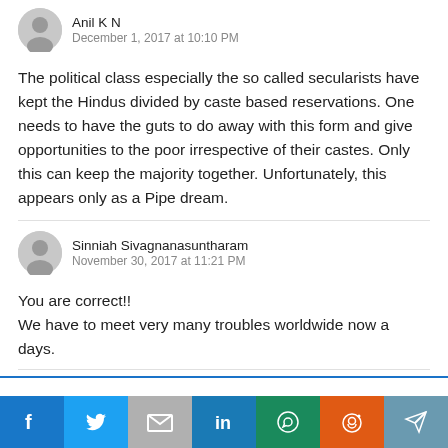Anil K N
December 1, 2017 at 10:10 PM
The political class especially the so called secularists have kept the Hindus divided by caste based reservations. One needs to have the guts to do away with this form and give opportunities to the poor irrespective of their castes. Only this can keep the majority together. Unfortunately, this appears only as a Pipe dream.
Sinniah Sivagnanasuntharam
November 30, 2017 at 11:21 PM
You are correct!!
We have to meet very many troubles worldwide now a days.
This website uses cookies.
[Figure (other): Social media sharing buttons: Facebook, Twitter, Gmail, LinkedIn, WhatsApp, Reddit, Telegram]